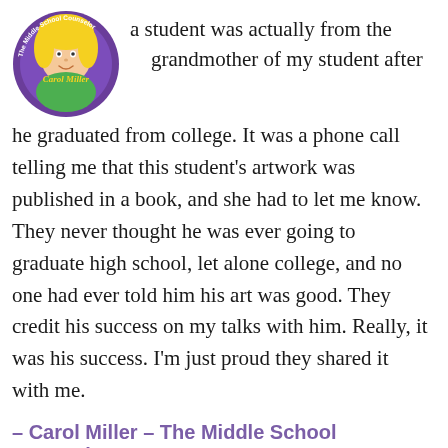[Figure (logo): Circular logo for 'The Middle School Counselor' featuring a cartoon female counselor named Carol Miller with yellow hair in a green shirt, purple circle border with text around edge.]
a student was actually from the grandmother of my student after he graduated from college. It was a phone call telling me that this student's artwork was published in a book, and she had to let me know. They never thought he was ever going to graduate high school, let alone college, and no one had ever told him his art was good. They credit his success on my talks with him. Really, it was his success. I'm just proud they shared it with me.
– Carol Miller – The Middle School Counselor